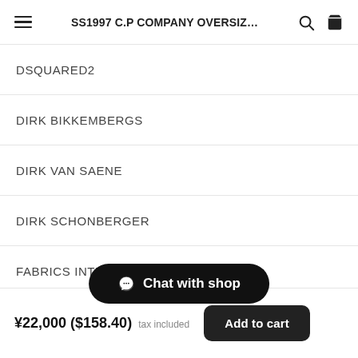SS1997 C.P COMPANY OVERSIZ...
DSQUARED2
DIRK BIKKEMBERGS
DIRK VAN SAENE
DIRK SCHONBERGER
FABRICS INTERSEASON
FENDI
DRIES VAN
¥22,000 ($158.40) tax included
Add to cart